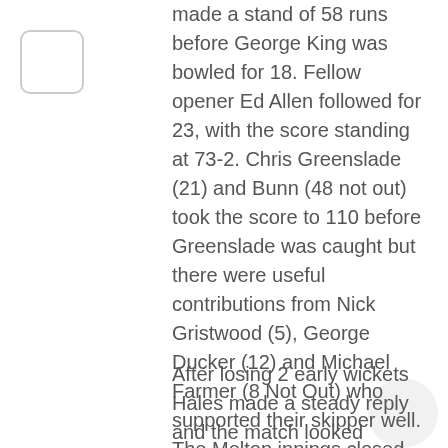made a stand of 58 runs before George King was bowled for 18. Fellow opener Ed Allen followed for 23, with the score standing at 73-2. Chris Greenslade (21) and Bunn (48 not out) took the score to 110 before Greenslade was caught but there were useful contributions from Nick Gristwood (5), George Ducker (12) and Michael Farmer (8 Not Out) who supported their skipper well. The Melton innings closed on 190-6 from their allocated 36 overs. G Montagu was the pick of the Hales bowlers with 3-21 runs in his 6 overs.
After losing 2 early wickets Hales made a steady reply and the match looked evenly poised with Hales standing at